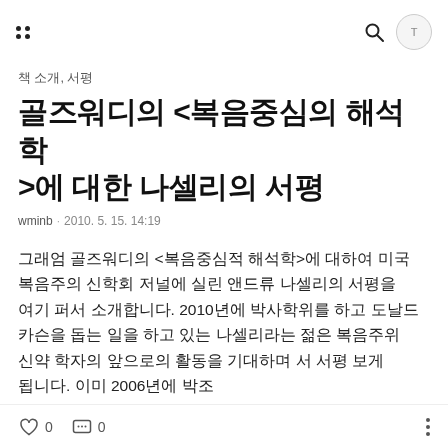골즈워디의 <복음중심의 해석학>에 대한 나셀리의 서평 — 앱 헤더 바
책 소개, 서평
골즈워디의 <복음중심의 해석학>에 대한 나셀리의 서평
wminb · 2010. 5. 15. 14:19
그래엄 골즈워디의 <복음중심적 해석학>에 대하여 미국 복음주의 신학회 저널에 실린 앤드류 나셀리의 서평을 여기 퍼서 소개합니다. 2010년에 박사학위를 하고 도날드 카슨을 돕는 일을 하고 있는 나셀리라는 젊은 복음주위 신약 학자의 앞으로의 활동을 기대하며 서 서평 보게 됩니다. 이미 2006년에 박조
♡ 0   💬 0